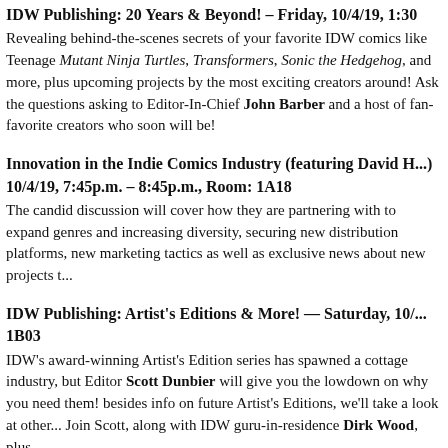IDW Publishing: 20 Years & Beyond! – Friday, 10/4/19, 1:30
Revealing behind-the-scenes secrets of your favorite IDW comics like Teenage Mutant Ninja Turtles, Transformers, Sonic the Hedgehog, and more, plus upcoming projects by the most exciting creators around! Ask the questions you've been asking to Editor-In-Chief John Barber and a host of fan-favorite creators and those who soon will be!
Innovation in the Indie Comics Industry (featuring David H...) – 10/4/19, 7:45p.m. – 8:45p.m., Room: 1A18
The candid discussion will cover how they are partnering with to expand genres and increasing diversity, securing new distribution platforms, new marketing tactics as well as exclusive news about new projects t...
IDW Publishing: Artist's Editions & More! — Saturday, 10/... 1B03
IDW's award-winning Artist's Edition series has spawned a cottage industry, but Editor Scott Dunbier will give you the lowdown on why you need them! Besides info on future Artist's Editions, we'll take a look at other... Join Scott, along with IDW guru-in-residence Dirk Wood, plus...